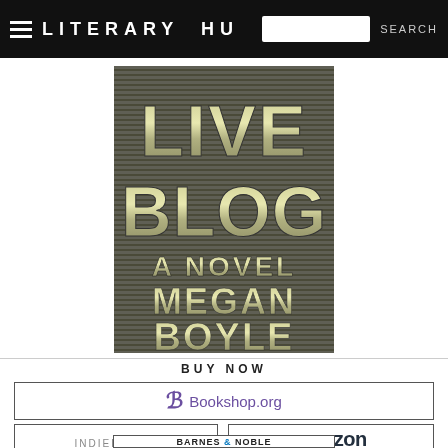LITERARY HU [search bar] SEARCH
[Figure (illustration): Book cover of 'Live Blog: A Novel' by Megan Boyle. Features layered retro-style text on a horizontal striped background with metallic/rainbow coloring.]
BUY NOW
[Figure (logo): Bookshop.org logo with stylized B and text]
INDIEBOUND
[Figure (logo): Amazon logo with arrow smile]
BARNES & NOBLE